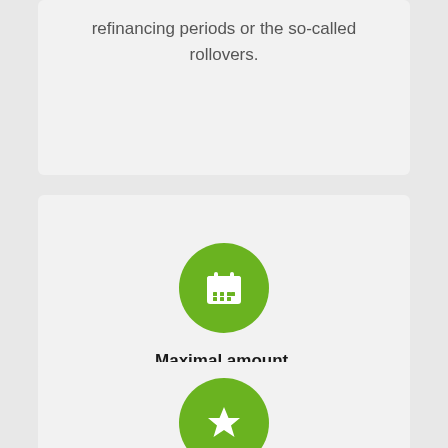refinancing periods or the so-called rollovers.
[Figure (illustration): Green circle with white calendar icon]
Maximal amount.
The sum of money you may borrow restricts to 25% of your monthly salary.
[Figure (illustration): Green circle with white star icon (partially visible)]